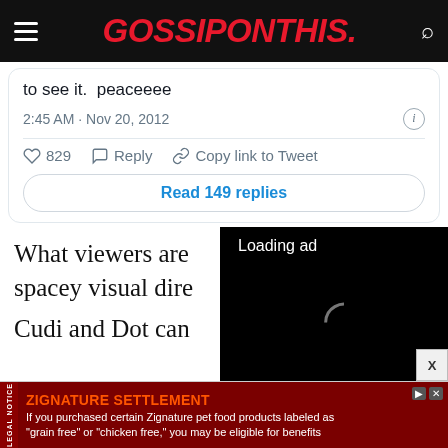GOSSIPONTHIS.
to see it.  peaceeee
2:45 AM · Nov 20, 2012
829   Reply   Copy link to Tweet
Read 149 replies
What viewers are spacey visual dire
[Figure (other): Video ad loading overlay with spinner and playback controls on black background]
Cudi and Dot can alternating rooms as the scenery around
[Figure (other): Bottom banner ad for Zignature Settlement with legal notice sidebar]